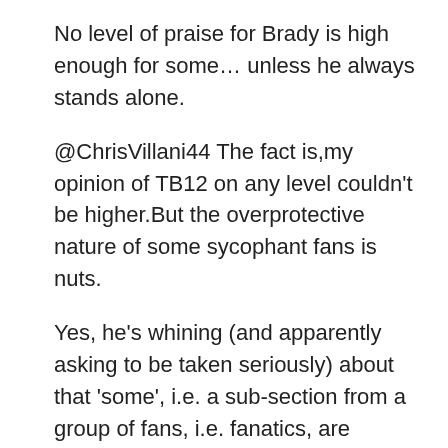No level of praise for Brady is high enough for some… unless he always stands alone.
@ChrisVillani44 The fact is,my opinion of TB12 on any level couldn't be higher.But the overprotective nature of some sycophant fans is nuts.
Yes, he's whining (and apparently asking to be taken seriously) about that 'some', i.e. a sub-section from a group of fans, i.e. fanatics, are 'overprotective (of TB12) sycophants'.